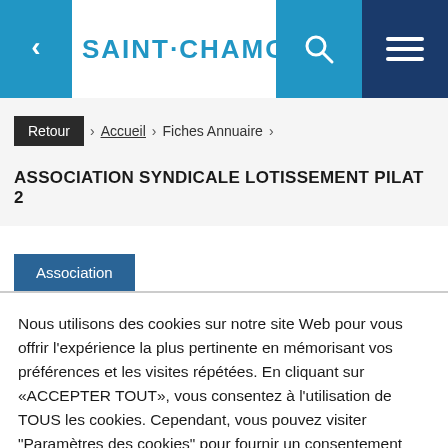SAINT·CHAMOND
Retour › Accueil › Fiches Annuaire ›
ASSOCIATION SYNDICALE LOTISSEMENT PILAT 2
Association
Nous utilisons des cookies sur notre site Web pour vous offrir l'expérience la plus pertinente en mémorisant vos préférences et les visites répétées. En cliquant sur «ACCEPTER TOUT», vous consentez à l'utilisation de TOUS les cookies. Cependant, vous pouvez visiter "Paramètres des cookies" pour fournir un consentement contrôlé.
Paramètres des cookies   ACCEPTER TOUT